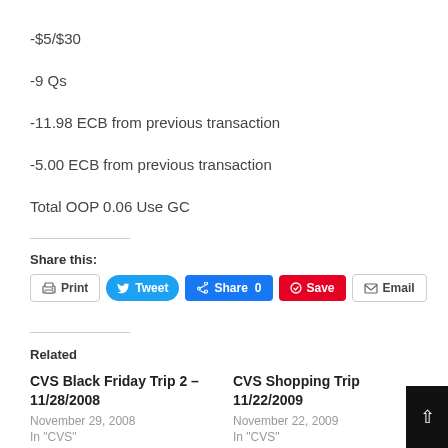-$5/$30
-9 Qs
-11.98 ECB from previous transaction
-5.00 ECB from previous transaction
Total OOP 0.06 Use GC
Share this:
Print | Tweet | Share 0 | Save | Email
Related
CVS Black Friday Trip 2 – 11/28/2008
November 29, 2008
In "CVS"
CVS Shopping Trip 11/22/2009
November 22, 2009
In "CVS"